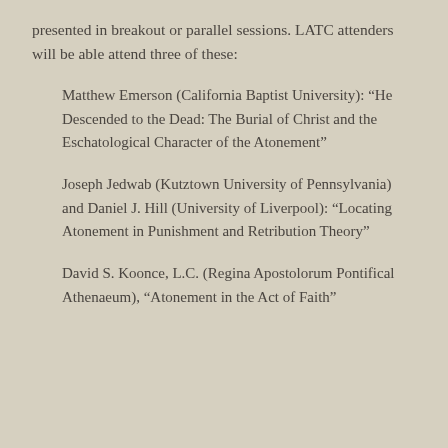presented in breakout or parallel sessions. LATC attenders will be able attend three of these:
Matthew Emerson (California Baptist University): “He Descended to the Dead: The Burial of Christ and the Eschatological Character of the Atonement”
Joseph Jedwab (Kutztown University of Pennsylvania) and Daniel J. Hill (University of Liverpool): “Locating Atonement in Punishment and Retribution Theory”
David S. Koonce, L.C. (Regina Apostolorum Pontifical Athenaeum), “Atonement in the Act of Faith”